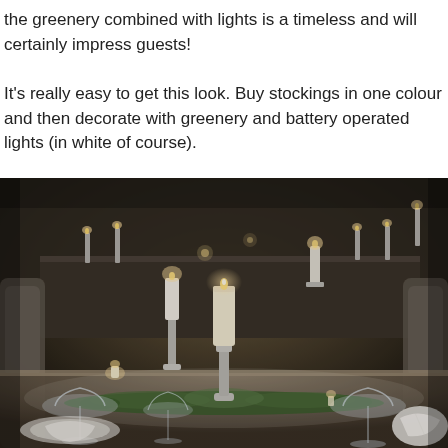the greenery combined with lights is a timeless and will certainly impress guests!

It's really easy to get this look. Buy stockings in one colour and then decorate with greenery and battery operated lights (in white of course).
[Figure (photo): An elegantly set dinner table in a dimly lit room. The table features candles on silver candlestick holders, crystal glassware, white folded napkins, and a garland of greenery running along the centre. In the background, more candles and dark furniture are visible.]